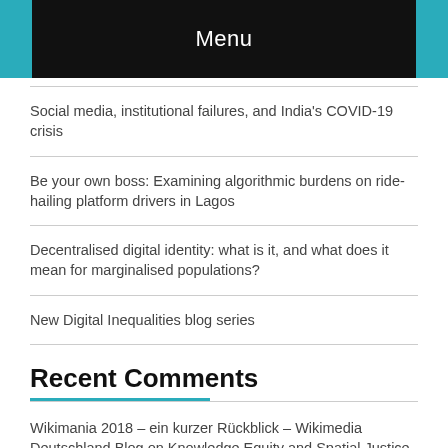Menu
Social media, institutional failures, and India's COVID-19 crisis
Be your own boss: Examining algorithmic burdens on ride-hailing platform drivers in Lagos
Decentralised digital identity: what is it, and what does it mean for marginalised populations?
New Digital Inequalities blog series
Recent Comments
Wikimania 2018 – ein kurzer Rückblick – Wikimedia Deutschland Blog on Knowledge Equity and Spatial Justice on Wikipedia
David Svarrer on Dissertation: African Hubs as Assemblers of Technology Entrepreneurs
Beyond Connectivity: Understanding Rwanda's BPO Sector –